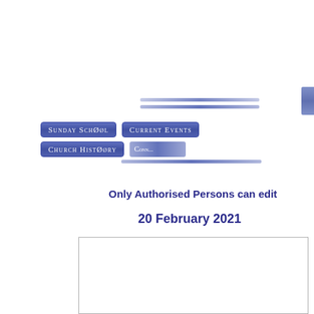[Figure (screenshot): Navigation menu buttons showing 'Sunday School', 'Current Events', 'Church History' and partially visible other buttons with blue gradient styling]
Only Authorised Persons can edit
20 February 2021